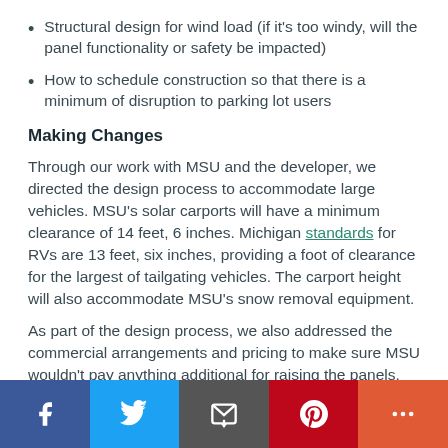Structural design for wind load (if it's too windy, will the panel functionality or safety be impacted)
How to schedule construction so that there is a minimum of disruption to parking lot users
Making Changes
Through our work with MSU and the developer, we directed the design process to accommodate large vehicles. MSU's solar carports will have a minimum clearance of 14 feet, 6 inches. Michigan standards for RVs are 13 feet, six inches, providing a foot of clearance for the largest of tailgating vehicles. The carport height will also accommodate MSU's snow removal equipment.
As part of the design process, we also addressed the commercial arrangements and pricing to make sure MSU wouldn't pay anything additional for raising the panels. This ensured MSU, a state university, would address its